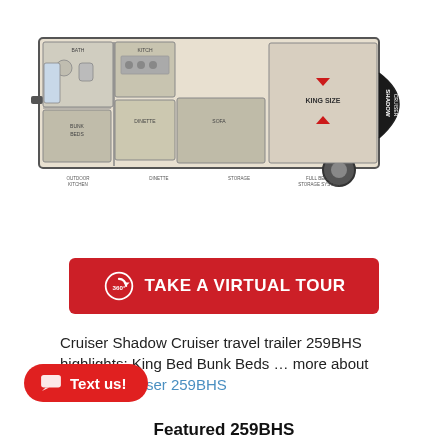[Figure (engineering-diagram): Shadow Cruiser RV floor plan showing top-down view with bedroom (king size bed), bathroom, kitchen, dining area, outdoor kitchen, bunk beds, and full belly storage system.]
[Figure (infographic): Red button with 360 degree icon and text TAKE A VIRTUAL TOUR]
Cruiser Shadow Cruiser travel trailer 259BHS highlights: King Bed Bunk Beds … more about Shadow Cruiser 259BHS
[Figure (infographic): Red rounded button with chat icon and text: Text us!]
Featured 259BHS